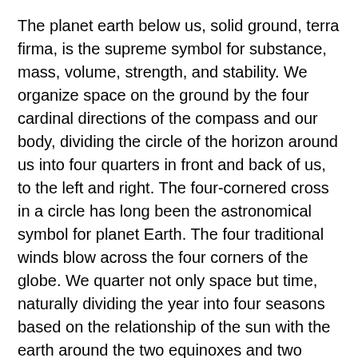The planet earth below us, solid ground, terra firma, is the supreme symbol for substance, mass, volume, strength, and stability. We organize space on the ground by the four cardinal directions of the compass and our body, dividing the circle of the horizon around us into four quarters in front and back of us, to the left and right. The four-cornered cross in a circle has long been the astronomical symbol for planet Earth. The four traditional winds blow across the four corners of the globe. We quarter not only space but time, naturally dividing the year into four seasons based on the relationship of the sun with the earth around the two equinoxes and two solstices.⁹
Regardless of the culture, the square was the preeminent symbol for the ancient Earth Mother goddess. The association of the earth with the number four, femaleness, and justice is very ancient, far preceding recorded history.¹⁰